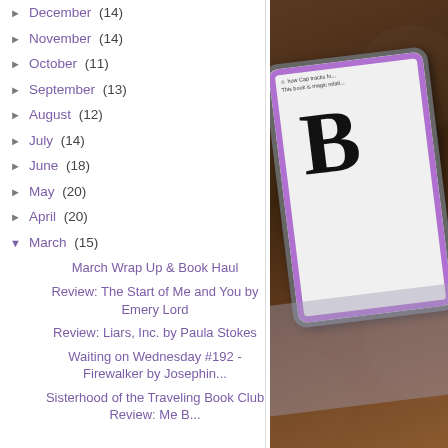► December (14)
► November (14)
► October (11)
► September (13)
► August (12)
► July (14)
► June (18)
► May (20)
► April (20)
▼ March (15)
March Wrap Up & Book Haul
Review: The Start of Me and You by Emery Lord
Review: Liars, Inc. by Paula Stokes
Waiting on Wednesday #192 - Firewalker by Josephin...
Sisterhood of the Traveling Book Club Review: Me B...
[Figure (photo): A tablet/e-reader with a purple cover displaying a book page on a wooden surface, showing a large letter B and some text.]